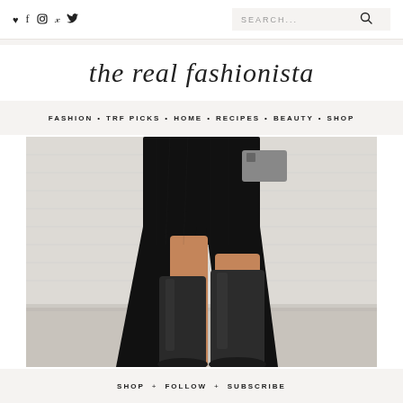Social icons: heart, f, instagram, pinterest, twitter | Search bar
the real fashionista
FASHION • TRF PICKS • HOME • RECIPES • BEAUTY • SHOP
[Figure (photo): Fashion photo of person wearing black dress with side slit and tall dark leather boots, posed against white brick wall]
SHOP + FOLLOW + SUBSCRIBE